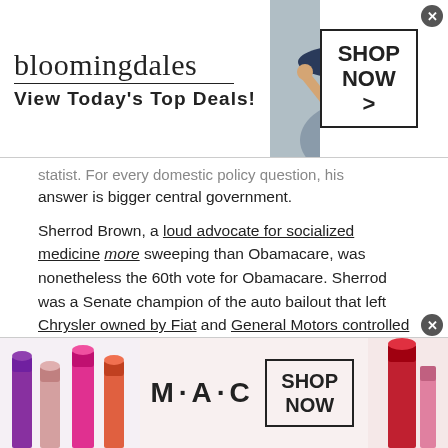[Figure (other): Bloomingdale's advertisement banner with logo, woman in hat, and 'SHOP NOW >' button]
statist. For every domestic policy question, his answer is bigger central government.
Sherrod Brown, a loud advocate for socialized medicine more sweeping than Obamacare, was nonetheless the 60th vote for Obamacare. Sherrod was a Senate champion of the auto bailout that left Chrysler owned by Fiat and General Motors controlled by Washington & the UAW. He cast the deciding vote for Obama's "stimulus" boondoggle.
Make a list of federal bailouts and entitlement expansions from the past several years, and Sherrod
[Figure (other): MAC Cosmetics advertisement banner with lipsticks and 'SHOP NOW' button]